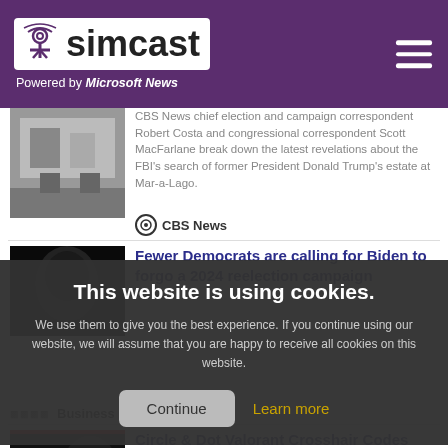simcast - Powered by Microsoft News
[Figure (screenshot): News thumbnail showing TV studio scene]
CBS News chief election and campaign correspondent Robert Costa and congressional correspondent Scott MacFarlane break down the latest revelations about the FBI's search of former President Donald Trump's estate at Mar-a-Lago.
CBS News
Fewer Democrats are calling for Biden to forgo a 2024 reelection campaign
[Figure (screenshot): Cookie consent overlay - This website is using cookies.]
Business Insider
Circle & Dot Valorant Crosshair Codes (September 2022)
Valorant is the competitive shooter game that has...